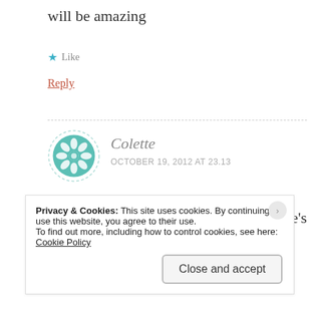will be amazing
★ Like
Reply
Colette
OCTOBER 19, 2012 AT 23.13
Thanks M, my own book....... now, there's a thought 😉
Privacy & Cookies: This site uses cookies. By continuing to use this website, you agree to their use.
To find out more, including how to control cookies, see here:
Cookie Policy
Close and accept